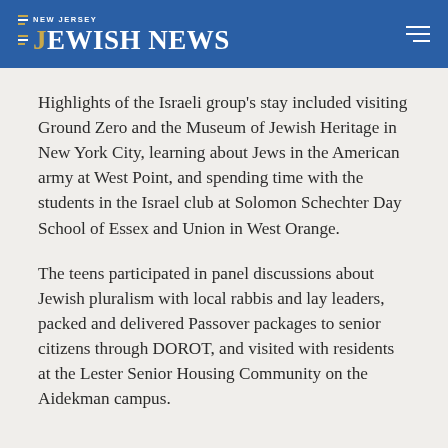NEW JERSEY JEWISH NEWS
Highlights of the Israeli group's stay included visiting Ground Zero and the Museum of Jewish Heritage in New York City, learning about Jews in the American army at West Point, and spending time with the students in the Israel club at Solomon Schechter Day School of Essex and Union in West Orange.
The teens participated in panel discussions about Jewish pluralism with local rabbis and lay leaders, packed and delivered Passover packages to senior citizens through DOROT, and visited with residents at the Lester Senior Housing Community on the Aidekman campus.